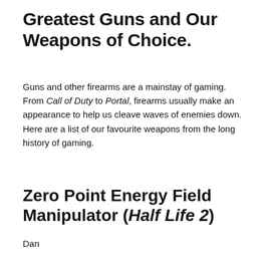Greatest Guns and Our Weapons of Choice.
Guns and other firearms are a mainstay of gaming. From Call of Duty to Portal, firearms usually make an appearance to help us cleave waves of enemies down. Here are a list of our favourite weapons from the long history of gaming.
Zero Point Energy Field Manipulator (Half Life 2)
Dan